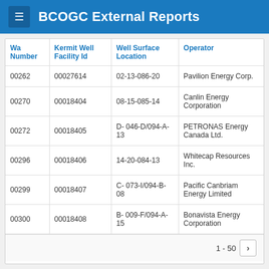BCOGC External Reports
| Wa Number | Kermit Well Facility Id | Well Surface Location | Operator |
| --- | --- | --- | --- |
| 00262 | 00027614 | 02-13-086-20 | Pavilion Energy Corp. |
| 00270 | 00018404 | 08-15-085-14 | Canlin Energy Corporation |
| 00272 | 00018405 | D- 046-D/094-A-13 | PETRONAS Energy Canada Ltd. |
| 00296 | 00018406 | 14-20-084-13 | Whitecap Resources Inc. |
| 00299 | 00018407 | C- 073-I/094-B-08 | Pacific Canbriam Energy Limited |
| 00300 | 00018408 | B- 009-F/094-A-15 | Bonavista Energy Corporation |